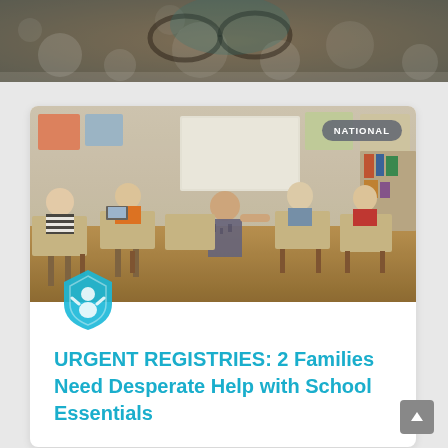[Figure (photo): Top banner photo showing blurred bokeh background with glasses, warm tones]
[Figure (photo): Classroom scene showing children at desks with a teacher assisting them; labeled NATIONAL in top-right badge]
URGENT REGISTRIES: 2 Families Need Desperate Help with School Essentials